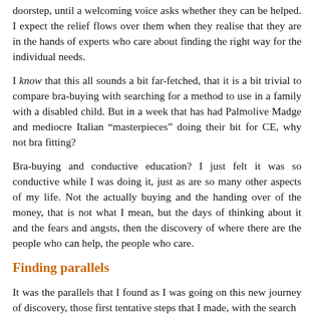doorstep, until a welcoming voice asks whether they can be helped. I expect the relief flows over them when they realise that they are in the hands of experts who care about finding the right way for the individual needs.
I know that this all sounds a bit far-fetched, that it is a bit trivial to compare bra-buying with searching for a method to use in a family with a disabled child. But in a week that has had Palmolive Madge and mediocre Italian "masterpieces" doing their bit for CE, why not bra fitting?
Bra-buying and conductive education? I just felt it was so conductive while I was doing it, just as are so many other aspects of my life. Not the actually buying and the handing over of the money, that is not what I mean, but the days of thinking about it and the fears and angsts, then the discovery of where there are the people who can help, the people who care.
Finding parallels
It was the parallels that I found as I was going on this new journey of discovery, those first tentative steps that I made, with the search